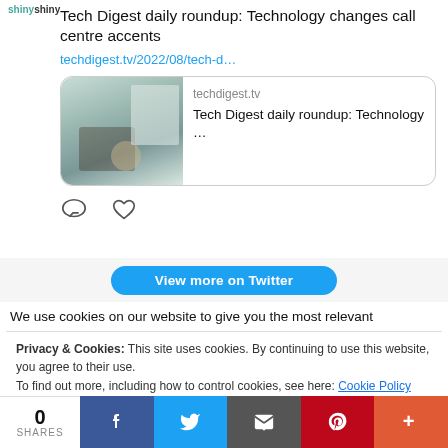shinyshiny
Tech Digest daily roundup: Technology changes call centre accents
techdigest.tv/2022/08/tech-d…
[Figure (screenshot): Article preview card showing an office/workplace photo with text 'techdigest.tv' and 'Tech Digest daily roundup: Technology …']
[Figure (other): Comment and heart/like icons]
View more on Twitter
We use cookies on our website to give you the most relevant
Privacy & Cookies: This site uses cookies. By continuing to use this website, you agree to their use.
To find out more, including how to control cookies, see here: Cookie Policy
0
SHARES